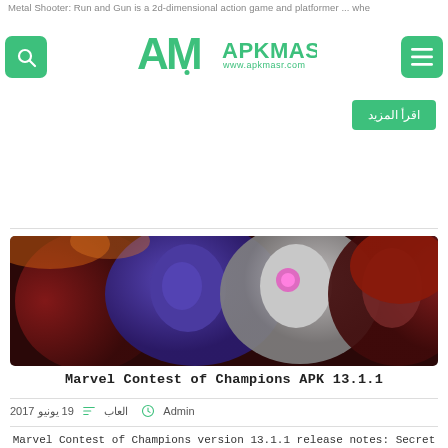Metal Shooter: Run and Gun is a 2d-dimensional action game and platformer ... where players control a metalhead soldier vi...
اقرأ المزيد
[Figure (photo): Promotional image for Marvel Contest of Champions showing three superhero characters: a blue-skinned character, a metallic/robotic character, and a red-haired female character against a dramatic background.]
Marvel Contest of Champions APK 13.1.1
Admin  العاب  19 يونيو 2017
Marvel Contest of Champions version 13.1.1 release notes: Secret Empire ...Forever: A brand new event quest featuring the dangerous and unsta